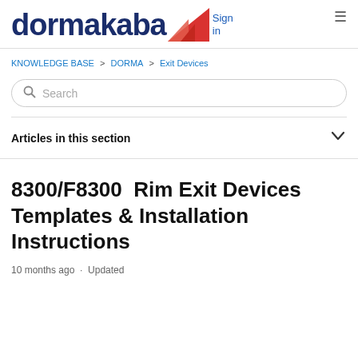dormakaba — Sign in
KNOWLEDGE BASE > DORMA > Exit Devices
Search
Articles in this section
8300/F8300  Rim Exit Devices Templates & Installation Instructions
10 months ago · Updated